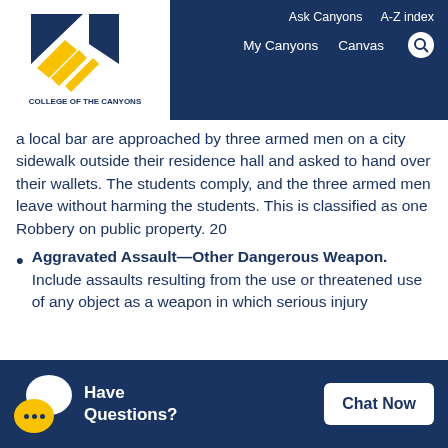Ask Canyons  A-Z index  My Canyons  Canvas
[Figure (logo): College of the Canyons logo with blue and gold diamond shape and text]
a local bar are approached by three armed men on a city sidewalk outside their residence hall and asked to hand over their wallets. The students comply, and the three armed men leave without harming the students. This is classified as one Robbery on public property. 20
Aggravated Assault—Other Dangerous Weapon. Include assaults resulting from the use or threatened use of any object as a weapon in which serious injury
Have Questions? Chat Now